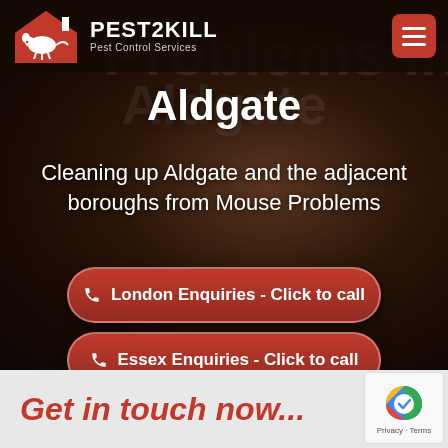[Figure (logo): Pest2Kill Pest Control Services logo with red house icon containing white rat silhouette]
Mouse Problems in Aldgate
Aldgate
Cleaning up Aldgate and the adjacent boroughs from Mouse Problems
London Enquiries - Click to call
Essex Enquiries - Click to call
Get in touch now...